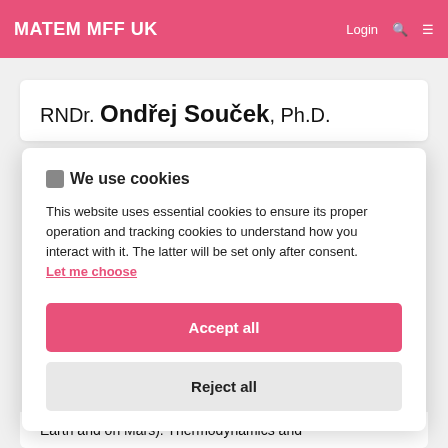MATEM MFF UK
RNDr. Ondřej Souček, Ph.D.
🍪 We use cookies
This website uses essential cookies to ensure its proper operation and tracking cookies to understand how you interact with it. The latter will be set only after consent.
Let me choose
Accept all
Reject all
Earth and on Mars): Thermodynamics and